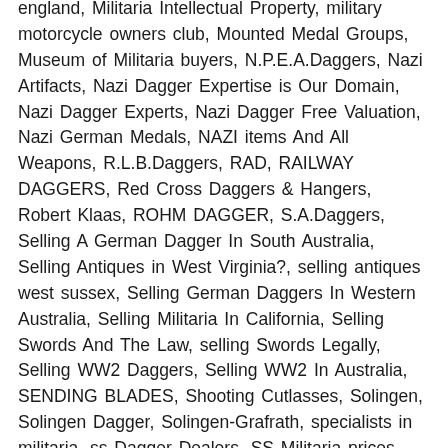england, Militaria Intellectual Property, military motorcycle owners club, Mounted Medal Groups, Museum of Militaria buyers, N.P.E.A.Daggers, Nazi Artifacts, Nazi Dagger Expertise is Our Domain, Nazi Dagger Experts, Nazi Dagger Free Valuation, Nazi German Medals, NAZI items And All Weapons, R.L.B.Daggers, RAD, RAILWAY DAGGERS, Red Cross Daggers & Hangers, Robert Klaas, ROHM DAGGER, S.A.Daggers, Selling A German Dagger In South Australia, Selling Antiques in West Virginia?, selling antiques west sussex, Selling German Daggers In Western Australia, Selling Militaria In California, Selling Swords And The Law, selling Swords Legally, Selling WW2 Daggers, Selling WW2 In Australia, SENDING BLADES, Shooting Cutlasses, Solingen, Solingen Dagger, Solingen-Grafrath, specialists in militaria, ss Dagger Dealers, SS Militaria prices, Sudetenland in 1938, T.E.N.O., The Free Valuation of German daggers, The German National Hunting Association, The